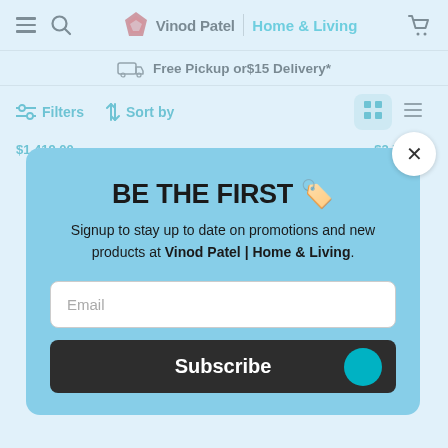Vinod Patel | Home & Living — navigation header with hamburger menu, search, logo, and cart icon
Free Pickup or$15 Delivery*
Filters  Sort by
$1,419.00   $2,799.00
BE THE FIRST 🏷️
Signup to stay up to date on promotions and new products at Vinod Patel | Home & Living.
Email
Subscribe